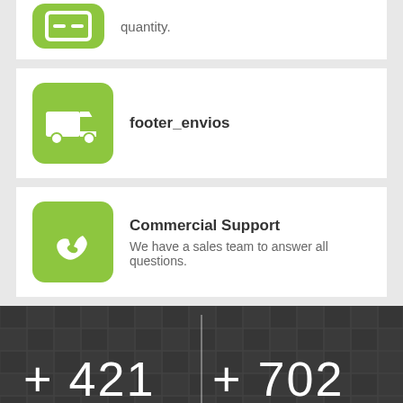quantity.
footer_envios
Commercial Support
We have a sales team to answer all questions.
+ 421
ARTIGOS
+ 702
CLIENTES SATISFEITOS